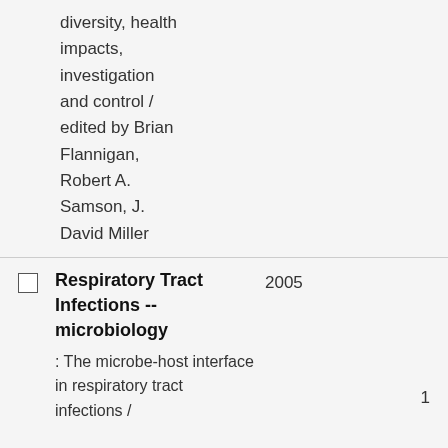diversity, health impacts, investigation and control / edited by Brian Flannigan, Robert A. Samson, J. David Miller
Respiratory Tract Infections -- microbiology
2005
: The microbe-host interface in respiratory tract infections /
1